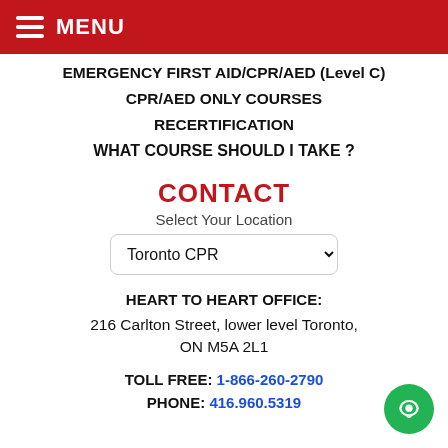MENU
EMERGENCY FIRST AID/CPR/AED (Level C)
CPR/AED ONLY COURSES
RECERTIFICATION
WHAT COURSE SHOULD I TAKE ?
CONTACT
Select Your Location
Toronto CPR
HEART TO HEART OFFICE:
216 Carlton Street, lower level Toronto, ON M5A 2L1
TOLL FREE: 1-866-260-2790
PHONE: 416.960.5319